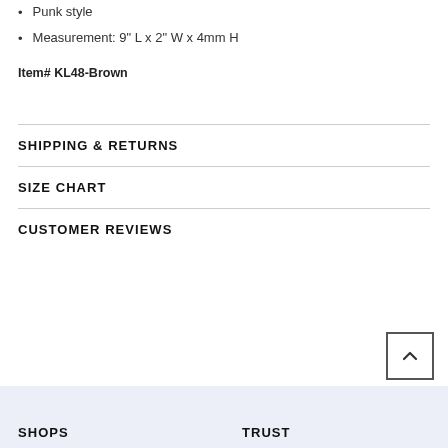Punk style
Measurement: 9" L x 2" W x 4mm H
Item# KL48-Brown
SHIPPING & RETURNS
SIZE CHART
CUSTOMER REVIEWS
SHOPS    TRUST